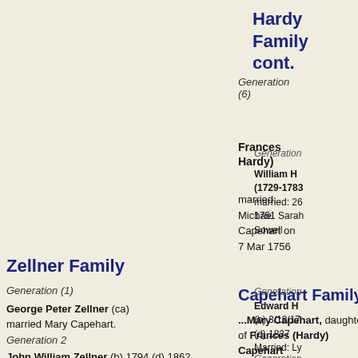Hardy Family cont.
Generation (6)
Frances Hardy)
married: Michael Capehart on 7 Mar 1756
Generation
William H (1729-1783 married: 26 1751 Sarah Sowell
Zellner Family
Generation (1)
George Peter Zellner (ca) married Mary Capehart.
Generation 2
John William Zellner (b) 1794 (d) 1862 Married: 3/7/1819 Martha Moncrief)
Generation 3
Capehart Family
...Mary Capehart, daughter of Frances (Hardy) Capehart married George Peter Zellner
Generation
Edward H (b) 3/18/17 (d) 1837 Married: Ly Jarvis)
Generation
Thomas Ashbury H Married: 18